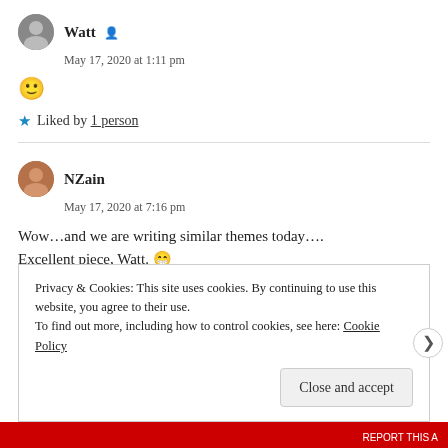Watt
May 17, 2020 at 1:11 pm
🙂
★ Liked by 1 person
NZain
May 17, 2020 at 7:16 pm
Wow…and we are writing similar themes today…. Excellent piece, Watt. 😁
Privacy & Cookies: This site uses cookies. By continuing to use this website, you agree to their use. To find out more, including how to control cookies, see here: Cookie Policy
Close and accept